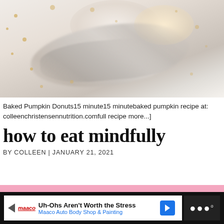[Figure (photo): Blurred overhead photo of baked goods (pumpkin donuts area) with utensils/spoons and gold dot sprinkles on a light background]
Baked Pumpkin Donuts15 minute15 minutebaked pumpkin recipe at: colleenchristensennutrition.comfull recipe more...]
how to eat mindfully
BY COLLEEN | JANUARY 21, 2021
[Figure (other): Pink solid color box (advertisement placeholder or banner area)]
[Figure (other): Advertisement bar: Maaco Auto Body Shop & Painting — Uh-Ohs Aren't Worth the Stress]